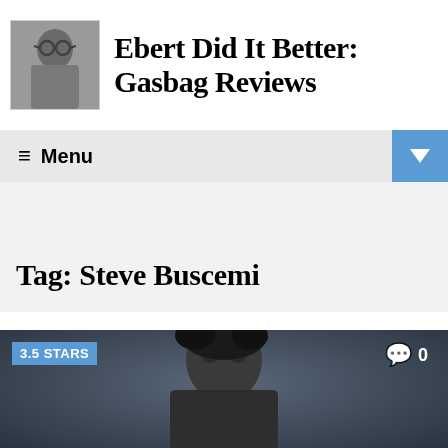[Figure (photo): Black and white photo of a person with glasses, used as site logo/avatar for Ebert Did It Better: Gasbag Reviews blog]
Ebert Did It Better: Gasbag Reviews
≡ Menu
Tag: Steve Buscemi
[Figure (photo): Dark background promotional photo of a man with dark hair, used for film review article. Rating badge shows 3.5 STARS. Comment count shows 0.]